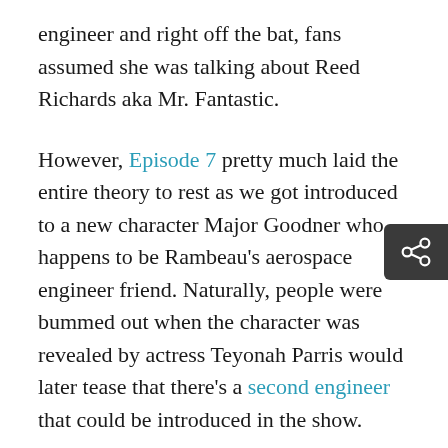engineer and right off the bat, fans assumed she was talking about Reed Richards aka Mr. Fantastic.
However, Episode 7 pretty much laid the entire theory to rest as we got introduced to a new character Major Goodner who happens to be Rambeau's aerospace engineer friend. Naturally, people were bummed out when the character was revealed by actress Teyonah Parris would later tease that there's a second engineer that could be introduced in the show.